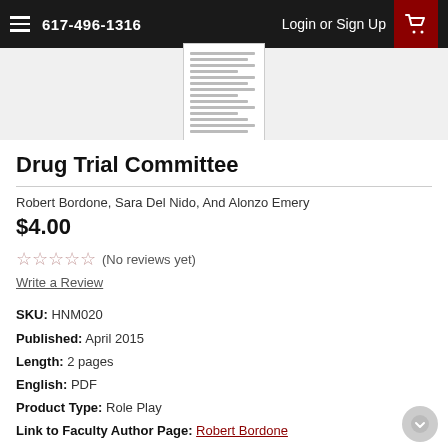617-496-1316  Login or Sign Up
[Figure (screenshot): Thumbnail preview of a document page showing text lines]
Drug Trial Committee
Robert Bordone, Sara Del Nido, And Alonzo Emery
$4.00
☆☆☆☆☆ (No reviews yet)
Write a Review
SKU: HNM020
Published: April 2015
Length: 2 pages
English: PDF
Product Type: Role Play
Link to Faculty Author Page: Robert Bordone
Educators / Non-Profits: Review Copy and Teaching Note
Subject: Mediation & Negotiation | Ethics